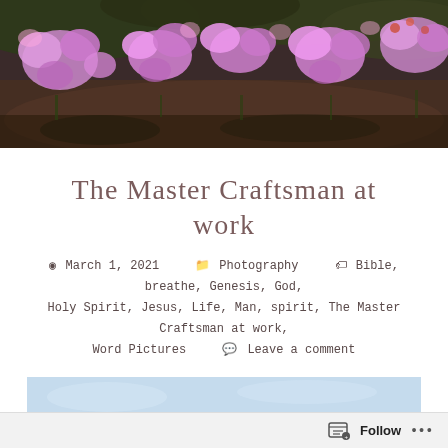[Figure (photo): A banner-style photo of purple/pink wildflowers against a dark green background, soft bokeh lighting]
The Master Craftsman at work
March 1, 2021   Photography   Bible, breathe, Genesis, God, Holy Spirit, Jesus, Life, Man, spirit, The Master Craftsman at work, Word Pictures   Leave a comment
[Figure (photo): A light blue sky background image with italic handwritten-style dark text reading: 'And the Lord God formed man of the dust of the ground, and breathed into his nostrils the...' — partially cropped Bible verse]